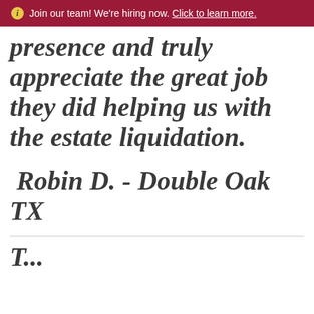Join our team! We're hiring now. Click to learn more.
presence and truly appreciate the great job they did helping us with the estate liquidation.
Robin D. - Double Oak TX
T...